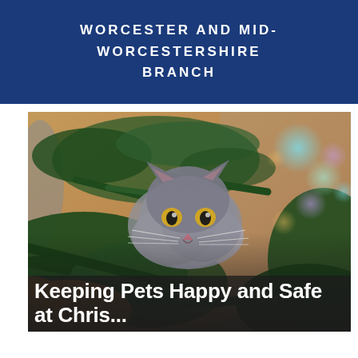WORCESTER AND MID-WORCESTERSHIRE BRANCH
[Figure (photo): A fluffy grey cat peering through green pine/Christmas tree branches with colourful bokeh ornaments visible on the right side. A second cat (ginger/orange) is partially visible in the lower left corner.]
Keeping Pets Happy and Safe at Chris...